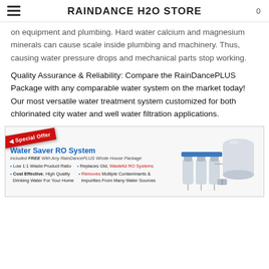RAINDANCE H2O STORE
on equipment and plumbing. Hard water calcium and magnesium minerals can cause scale inside plumbing and machinery. Thus, causing water pressure drops and mechanical parts stop working.
Quality Assurance & Reliability: Compare the RainDancePLUS Package with any comparable water system on the market today! Our most versatile water treatment system customized for both chlorinated city water and well water filtration applications.
[Figure (infographic): Promotional banner for Water Saver RO System: Special Offer ribbon in red, product title in blue, subtitle 'included FREE With Any RainDancePLUS Whole House Package', bullet points about Low 1:1 Waste:Product Ratio, Replaces Old Wasteful RO Systems, Cost Effective High Quality Drinking Water For Your Home, Removes Multiple Contaminants & Impurities From Many Water Sources. Image of RO filtration system on right.]